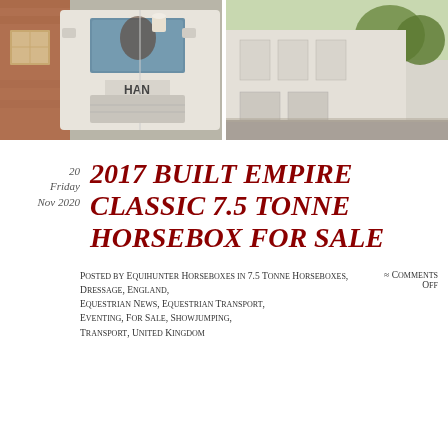[Figure (photo): Two-panel photograph showing a white MAN horsebox truck cab on the left and the rear section of the same white horsebox on the right, parked near a red brick building with trees in the background.]
20 Friday Nov 2020
2017 BUILT EMPIRE CLASSIC 7.5 TONNE HORSEBOX FOR SALE
Posted by Equihunter Horseboxes in 7.5 Tonne Horseboxes, Dressage, England, Equestrian News, Equestrian Transport, Eventing, For Sale, Showjumping, Transport, United Kingdom
≈ Comments Off